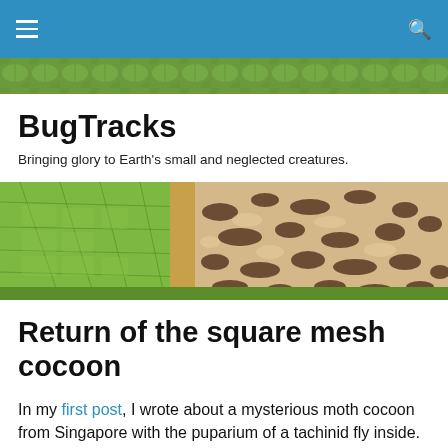BugTracks navigation bar
[Figure (photo): Green foliage background strip below navigation]
BugTracks
Bringing glory to Earth's small and neglected creatures.
[Figure (photo): Close-up macro photograph of a moth cocoon on a leaf; left side shows green leaf venation, right side shows the brown and cream patterned cocoon surface with dark markings]
Return of the square mesh cocoon
In my first post, I wrote about a mysterious moth cocoon from Singapore with the puparium of a tachinid fly inside.